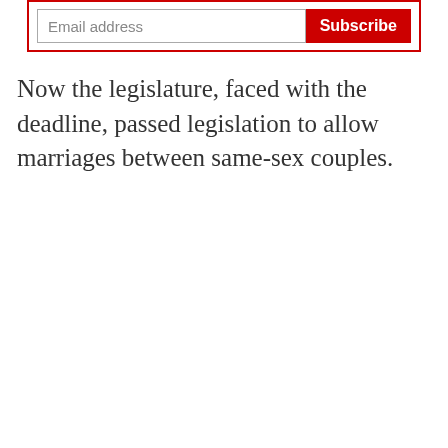[Figure (other): Email subscription box with text input labeled 'Email address' and a red 'Subscribe' button, inside a red border box]
Now the legislature, faced with the deadline, passed legislation to allow marriages between same-sex couples.